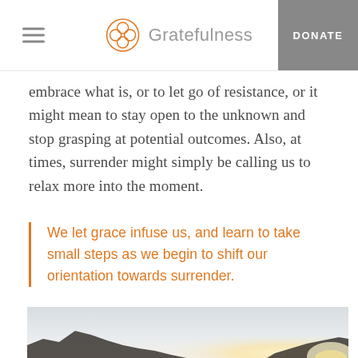Gratefulness | DONATE
embrace what is, or to let go of resistance, or it might mean to stay open to the unknown and stop grasping at potential outcomes. Also, at times, surrender might simply be calling us to relax more into the moment.
We let grace infuse us, and learn to take small steps as we begin to shift our orientation towards surrender.
[Figure (photo): Landscape photo showing mountain silhouettes against a hazy sky with a bright light source near the horizon]